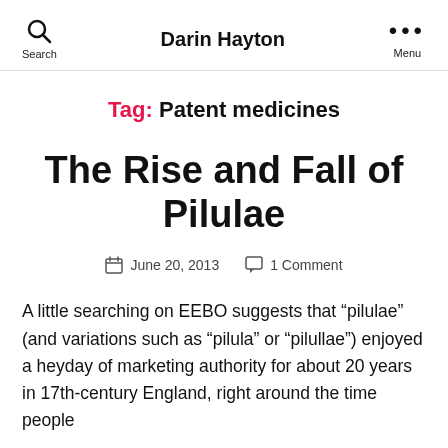Darin Hayton
Tag: Patent medicines
The Rise and Fall of Pilulae
June 20, 2013    1 Comment
A little searching on EEBO suggests that “pilulae” (and variations such as “pilula” or “pilullae”) enjoyed a heyday of marketing authority for about 20 years in 17th-century England, right around the time people